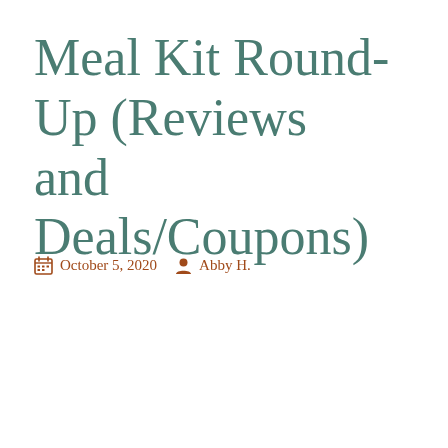Meal Kit Round-Up (Reviews and Deals/Coupons)
October 5, 2020   Abby H.